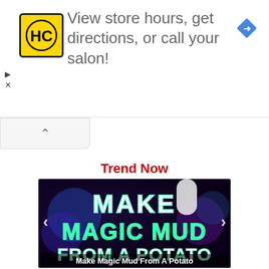[Figure (screenshot): Advertisement banner with HC (Hair Club) yellow logo, text 'View store hours, get directions, or call your salon!', and blue diamond navigation icon]
View store hours, get directions, or call your salon!
Trend Now
[Figure (photo): Thumbnail image with dark purple/blue background showing text 'MAKE MAGIC MUD FROM A POTATO' in glowing green and white letters with left/right navigation arrows]
Make Magic Mud From A Potato